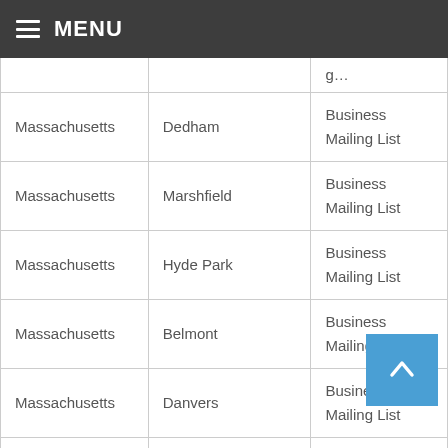MENU
| State | City | Type |
| --- | --- | --- |
| Massachusetts | Dedham | Business Mailing List |
| Massachusetts | Marshfield | Business Mailing List |
| Massachusetts | Hyde Park | Business Mailing List |
| Massachusetts | Belmont | Business Mailing List |
| Massachusetts | Danvers | Business Mailing List |
| Massachusetts | Milton | Business Mailing List |